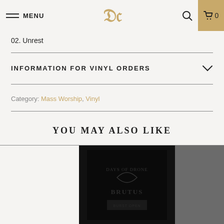MENU | DW logo | Search | Cart 0
02. Unrest
INFORMATION FOR VINYL ORDERS
Category: Mass Worship, Vinyl
YOU MAY ALSO LIKE
[Figure (photo): Dark black album cover product image]
[Figure (photo): Grey album cover product image]